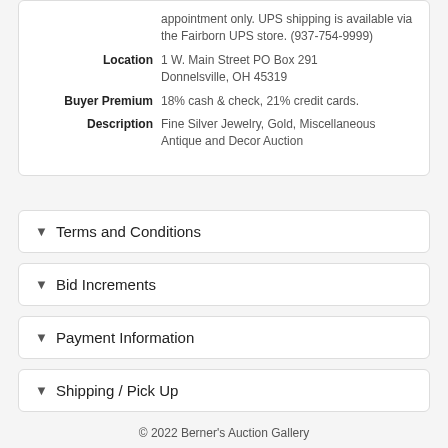appointment only. UPS shipping is available via the Fairborn UPS store. (937-754-9999)
Location: 1 W. Main Street PO Box 291 Donnelsville, OH 45319
Buyer Premium: 18% cash & check, 21% credit cards.
Description: Fine Silver Jewelry, Gold, Miscellaneous Antique and Decor Auction
Terms and Conditions
Bid Increments
Payment Information
Shipping / Pick Up
© 2022 Berner's Auction Gallery